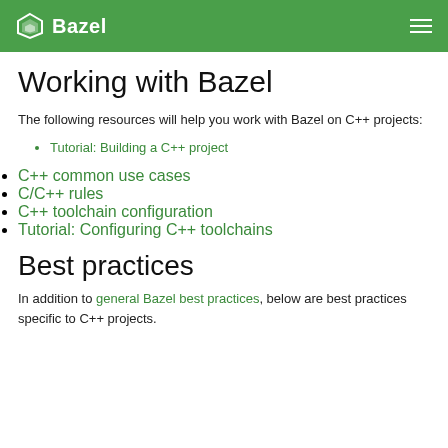Bazel
Working with Bazel
The following resources will help you work with Bazel on C++ projects:
Tutorial: Building a C++ project
C++ common use cases
C/C++ rules
C++ toolchain configuration
Tutorial: Configuring C++ toolchains
Best practices
In addition to general Bazel best practices, below are best practices specific to C++ projects.